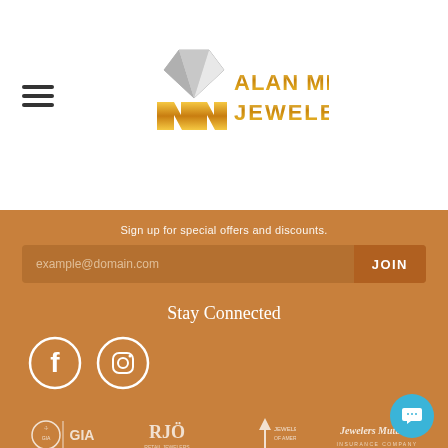[Figure (logo): Alan Miller Jewelers logo with diamond and gold text]
Sign up for special offers and discounts.
example@domain.com
JOIN
Stay Connected
[Figure (illustration): Facebook and Instagram social media icons (white circles)]
[Figure (illustration): Partner logos: GIA, RJO, Jewelers of America, Jewelers Mutual Insurance Company]
© 2022 Alan Miller Jewelers. All Rights Reserved. Website designed, maintained, and hosted by Punchmark. Accessibility Statement.